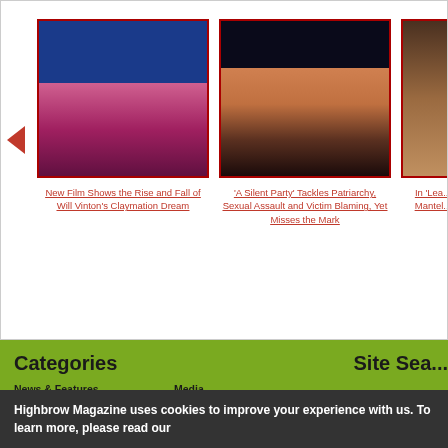[Figure (photo): Carousel/slider showing three article thumbnails: first is a colorful Claymation characters photo, second is a person with boxing gloves, third is partially visible warm-toned image. Left arrow navigation visible.]
New Film Shows the Rise and Fall of Will Vinton's Claymation Dream
'A Silent Party' Tackles Patriarchy, Sexual Assault and Victim Blaming, Yet Misses the Mark
In 'Lea... Mantel...
Categories
Site Sea...
News & Features
Film & TV
Books & Fiction
Travel
Media
Music
Food
Photography & Art
Highbrow Magazine uses cookies to improve your experience with us. To learn more, please read our